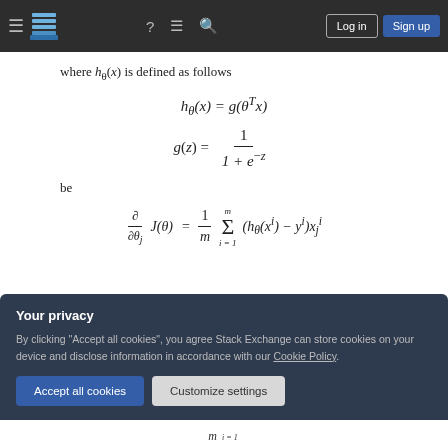[Figure (screenshot): Stack Exchange navigation bar with hamburger menu, logo, icons, Log in and Sign up buttons]
where h_θ(x) is defined as follows
be
[Figure (screenshot): Privacy cookie consent overlay with Accept all cookies and Customize settings buttons]